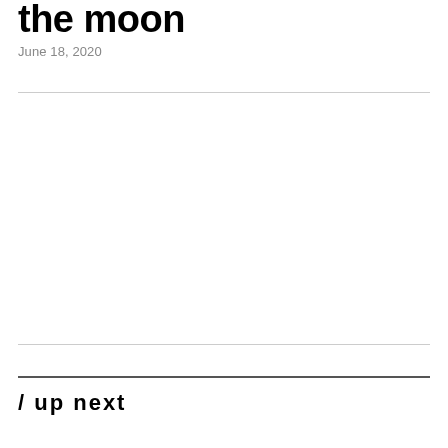the moon
June 18, 2020
/ up next